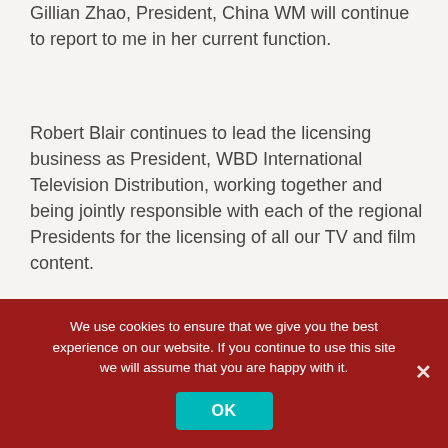Gillian Zhao, President, China WM will continue to report to me in her current function.
Robert Blair continues to lead the licensing business as President, WBD International Television Distribution, working together and being jointly responsible with each of the regional Presidents for the licensing of all our TV and film content.
Ronald Goes continues as EVP and Head of International TV Production leading the International WB Production business.
We use cookies to ensure that we give you the best experience on our website. If you continue to use this site we will assume that you are happy with it.